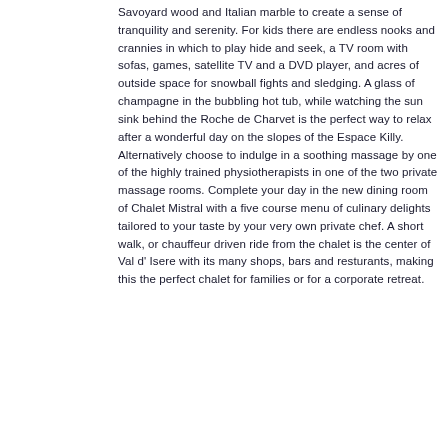Savoyard wood and Italian marble to create a sense of tranquility and serenity. For kids there are endless nooks and crannies in which to play hide and seek, a TV room with sofas, games, satellite TV and a DVD player, and acres of outside space for snowball fights and sledging. A glass of champagne in the bubbling hot tub, while watching the sun sink behind the Roche de Charvet is the perfect way to relax after a wonderful day on the slopes of the Espace Killy. Alternatively choose to indulge in a soothing massage by one of the highly trained physiotherapists in one of the two private massage rooms. Complete your day in the new dining room of Chalet Mistral with a five course menu of culinary delights tailored to your taste by your very own private chef. A short walk, or chauffeur driven ride from the chalet is the center of Val d' Isere with its many shops, bars and resturants, making this the perfect chalet for families or for a corporate retreat.